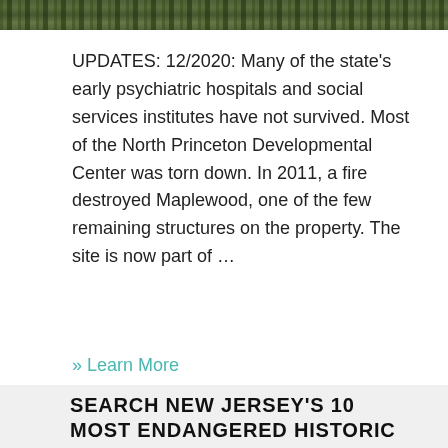[Figure (photo): Partial view of a landscape/nature photo showing green foliage and trees at the top of the page]
UPDATES: 12/2020: Many of the state's early psychiatric hospitals and social services institutes have not survived. Most of the North Princeton Developmental Center was torn down. In 2011, a fire destroyed Maplewood, one of the few remaining structures on the property. The site is now part of …
» Learn More
SEARCH NEW JERSEY'S 10 MOST ENDANGERED HISTORIC